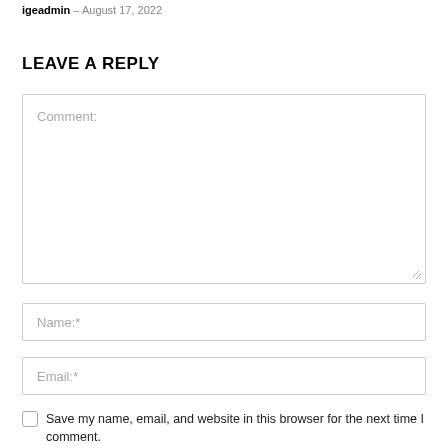igeadmin – August 17, 2022
LEAVE A REPLY
Comment:
Name:*
Email:*
Save my name, email, and website in this browser for the next time I comment.